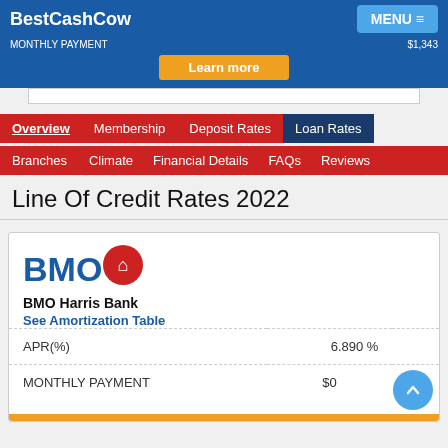BestCashCow — MENU
MONTHLY PAYMENT    $1,343
Learn more
Overview   Membership   Deposit Rates   Loan Rates
Branches   Climate   Financial Details   FAQs   Reviews
Line Of Credit Rates 2022
[Figure (logo): BMO Harris Bank logo with red circle icon]
BMO Harris Bank
See Amortization Table
|  |  |  |
| --- | --- | --- |
| APR(%) |  | 6.890 % |
| MONTHLY PAYMENT | $0 |  |